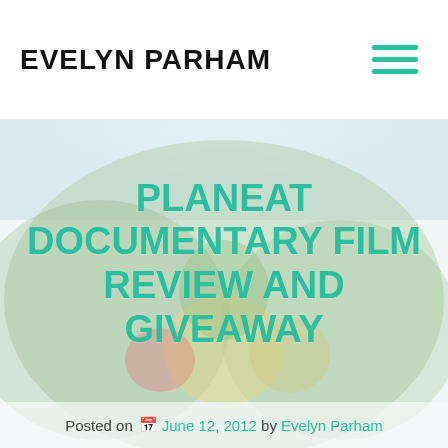EVELYN PARHAM
PLANEAT DOCUMENTARY FILM REVIEW AND GIVEAWAY
Posted on June 12, 2012 by Evelyn Parham